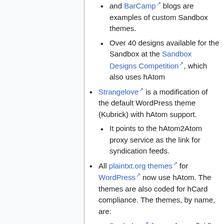and BarCamp blogs are examples of custom Sandbox themes.
Over 40 designs available for the Sandbox at the Sandbox Designs Competition, which also uses hAtom
Strangelove is a modification of the default WordPress theme (Kubrick) with hAtom support.
It points to the hAtom2Atom proxy service as the link for syndication feeds.
All plaintxt.org themes for WordPress now use hAtom. The themes are also coded for hCard compliance. The themes, by name, are:
Barthelme (two-column, fluid),
blog.txt (two- or three-column